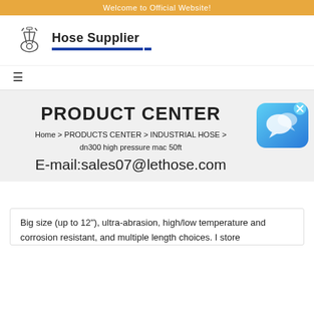Welcome to Official Website!
[Figure (logo): Hose Supplier logo with industrial machinery icon and blue underline]
≡
PRODUCT CENTER
Home > PRODUCTS CENTER > INDUSTRIAL HOSE > dn300 high pressure mac 50ft
E-mail:sales07@lethose.com
[Figure (illustration): Live chat widget bubble icon on blue rounded rectangle with X close button]
Big size (up to 12"), ultra-abrasion, high/low temperature and corrosion resistant, and multiple length choices. I store